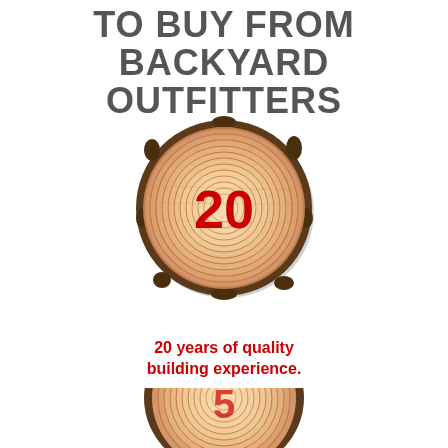TO BUY FROM BACKYARD OUTFITTERS
[Figure (illustration): Cross-section of a log/tree trunk with concentric rings, showing wood grain texture, with large red number '20' in the center]
20 years of quality building experience.
[Figure (illustration): Partial cross-section of a second log/tree trunk visible at bottom of page, partially cropped]